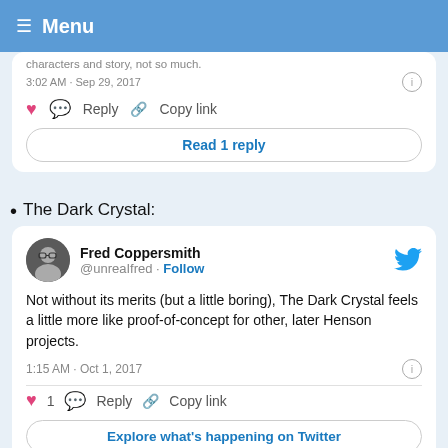≡ Menu
characters and story, not so much.
3:02 AM · Sep 29, 2017
Reply  Copy link
Read 1 reply
The Dark Crystal:
[Figure (screenshot): Tweet by Fred Coppersmith (@unreaIfred) with Follow button and Twitter bird logo]
Not without its merits (but a little boring), The Dark Crystal feels a little more like proof-of-concept for other, later Henson projects.
1:15 AM · Oct 1, 2017
1  Reply  Copy link
Explore what's happening on Twitter